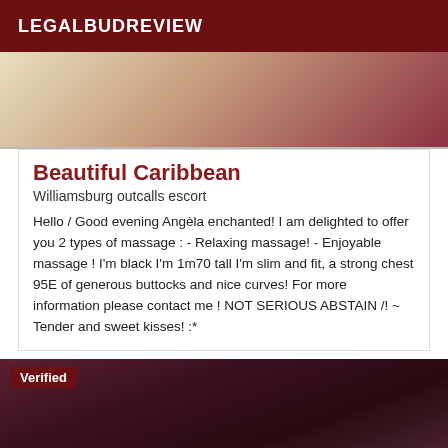LEGALBUDREVIEW
[Figure (photo): Partial photo showing beige/cream background with dark reddish-maroon fabric or clothing on the right side]
Beautiful Caribbean
Williamsburg outcalls escort
Hello / Good evening Angèla enchanted! I am delighted to offer you 2 types of massage : - Relaxing massage! - Enjoyable massage ! I'm black I'm 1m70 tall I'm slim and fit, a strong chest 95E of generous buttocks and nice curves! For more information please contact me ! NOT SERIOUS ABSTAIN /! ~ Tender and sweet kisses! :*
[Figure (photo): Photo showing dark skin and pink/mauve fabric strap, with a 'Verified' badge overlay in the top-left corner]